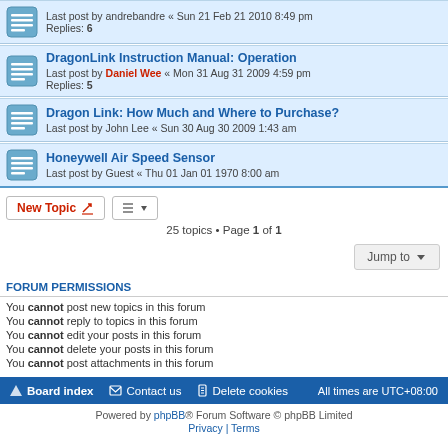Last post by andrebandre « Sun 21 Feb 21 2010 8:49 pm
Replies: 6
DragonLink Instruction Manual: Operation
Last post by Daniel Wee « Mon 31 Aug 31 2009 4:59 pm
Replies: 5
Dragon Link: How Much and Where to Purchase?
Last post by John Lee « Sun 30 Aug 30 2009 1:43 am
Honeywell Air Speed Sensor
Last post by Guest « Thu 01 Jan 01 1970 8:00 am
25 topics • Page 1 of 1
FORUM PERMISSIONS
You cannot post new topics in this forum
You cannot reply to topics in this forum
You cannot edit your posts in this forum
You cannot delete your posts in this forum
You cannot post attachments in this forum
Board index   Contact us   Delete cookies   All times are UTC+08:00
Powered by phpBB® Forum Software © phpBB Limited
Privacy | Terms